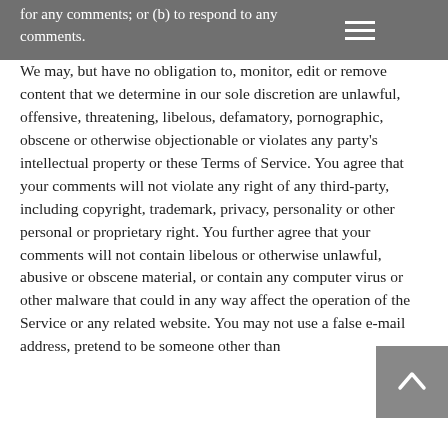for any comments; or (b) to respond to any comments.
We may, but have no obligation to, monitor, edit or remove content that we determine in our sole discretion are unlawful, offensive, threatening, libelous, defamatory, pornographic, obscene or otherwise objectionable or violates any party's intellectual property or these Terms of Service. You agree that your comments will not violate any right of any third-party, including copyright, trademark, privacy, personality or other personal or proprietary right. You further agree that your comments will not contain libelous or otherwise unlawful, abusive or obscene material, or contain any computer virus or other malware that could in any way affect the operation of the Service or any related website. You may not use a false e-mail address, pretend to be someone other than